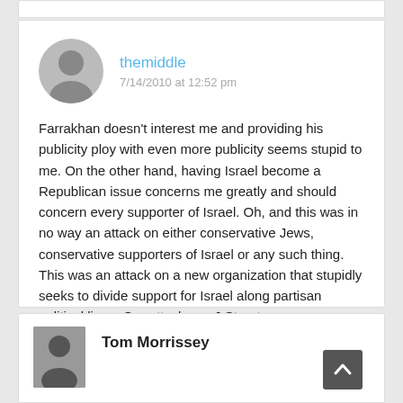themiddle
7/14/2010 at 12:52 pm
Farrakhan doesn't interest me and providing his publicity ploy with even more publicity seems stupid to me. On the other hand, having Israel become a Republican issue concerns me greatly and should concern every supporter of Israel. Oh, and this was in no way an attack on either conservative Jews, conservative supporters of Israel or any such thing. This was an attack on a new organization that stupidly seeks to divide support for Israel along partisan political lines. Our attacks on J Street were way harsher than this, by the way.
Tom Morrissey